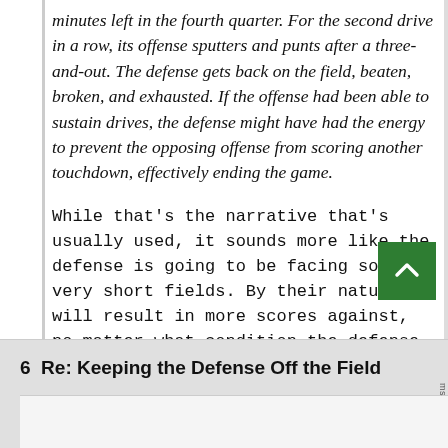minutes left in the fourth quarter. For the second drive in a row, its offense sputters and punts after a three-and-out. The defense gets back on the field, beaten, broken, and exhausted. If the offense had been able to sustain drives, the defense might have had the energy to prevent the opposing offense from scoring another touchdown, effectively ending the game.
While that's the narrative that's usually used, it sounds more like the defense is going to be facing some very short fields. By their nature, will result in more scores against, no matter what condition the defense is in.
6  Re: Keeping the Defense Off the Field